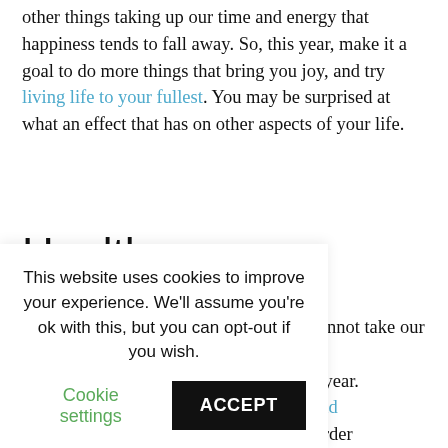other things taking up our time and energy that happiness tends to fall away. So, this year, make it a goal to do more things that bring you joy, and try living life to your fullest. You may be surprised at what an effect that has on other aspects of your life.
Health
If 2020 taught us anything, it's that we cannot take our health ... priority this year. ... uce the spread ... you can in order ... or everyone, but ... xercising and eating healthier. These don't need to be drastic changes –
This website uses cookies to improve your experience. We'll assume you're ok with this, but you can opt-out if you wish.